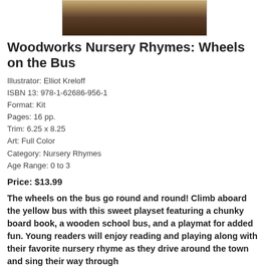[Figure (photo): Photo of Woodworks Nursery Rhymes: Wheels on the Bus kit product, showing wooden school bus toy on dark wooden background]
Woodworks Nursery Rhymes: Wheels on the Bus
Illustrator: Elliot Kreloff
ISBN 13: 978-1-62686-956-1
Format: Kit
Pages: 16 pp.
Trim: 6.25 x 8.25
Art: Full Color
Category: Nursery Rhymes
Age Range: 0 to 3
Price: $13.99
The wheels on the bus go round and round! Climb aboard the yellow bus with this sweet playset featuring a chunky board book, a wooden school bus, and a playmat for added fun. Young readers will enjoy reading and playing along with their favorite nursery rhyme as they drive around the town and sing their way through